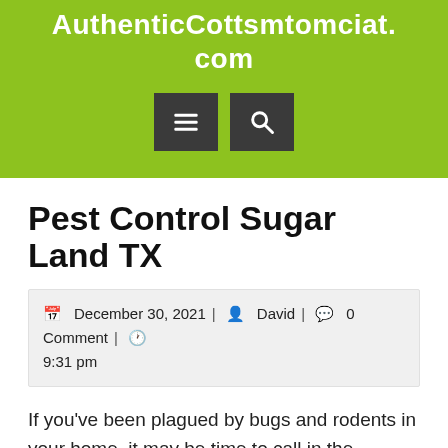AuthenticCottsmtomciat.com
[Figure (screenshot): Navigation bar with hamburger menu icon and search icon on green background]
Pest Control Sugar Land TX
December 30, 2021 | David | 0 Comment | 9:31 pm
If you've been plagued by bugs and rodents in your home, it may be time to call in the professionals at Pest Control Sugar Land TX. If you're looking for a fast, affordable way to get rid of bugs, call Sarex Pest Control in Sugar Land TX. We offer a variety of services to keep your home pest-free. We also offer